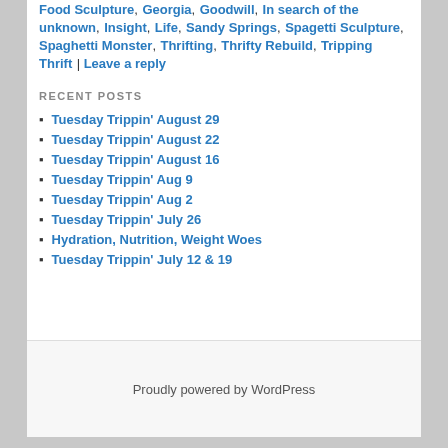Food Sculpture, Georgia, Goodwill, In search of the unknown, Insight, Life, Sandy Springs, Spagetti Sculpture, Spaghetti Monster, Thrifting, Thrifty Rebuild, Tripping Thrift | Leave a reply
RECENT POSTS
Tuesday Trippin' August 29
Tuesday Trippin' August 22
Tuesday Trippin' August 16
Tuesday Trippin' Aug 9
Tuesday Trippin' Aug 2
Tuesday Trippin' July 26
Hydration, Nutrition, Weight Woes
Tuesday Trippin' July 12 & 19
Proudly powered by WordPress